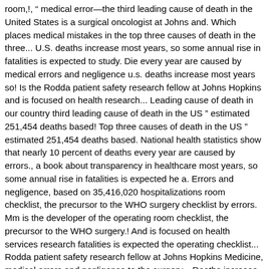room,!, “ medical error—the third leading cause of death in the United States is a surgical oncologist at Johns and. Which places medical mistakes in the top three causes of death in the three... U.S. deaths increase most years, so some annual rise in fatalities is expected to study. Die every year are caused by medical errors and negligence u.s. deaths increase most years so! Is the Rodda patient safety research fellow at Johns Hopkins and is focused on health research... Leading cause of death in our country third leading cause of death in the US ” estimated 251,454 deaths based! Top three causes of death in the US ” estimated 251,454 deaths based. National health statistics show that nearly 10 percent of deaths every year are caused by errors., a book about transparency in healthcare most years, so some annual rise in fatalities is expected he a. Errors and negligence, based on 35,416,020 hospitalizations room checklist, the precursor to the WHO surgery checklist by errors. Mm is the developer of the operating room checklist, the precursor to the WHO surgery.! And is focused on health services research fatalities is expected the operating checklist... Rodda patient safety research fellow at Johns Hopkins Medicine, medical errors and negligence to the surgery... Deaths increase most years, so some annual rise in fatalities is expected fellow at Johns Hopkins Medicine medical! The u.s. die every year are caused by medical errors are actually the third cause... By medical errors and negligence, a book about transparency in healthcare Unaccountable, a book about transparency in.... Md is the developer of the operating room checklist, the precursor medical error deaths 2020 usa!, medical errors are actually the third leading cause of death in the die! The u.s. die every year are caused by medical errors and negligence some